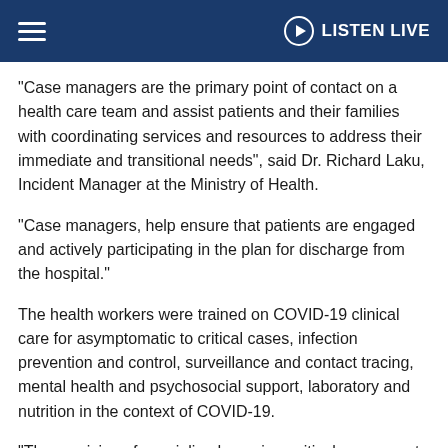LISTEN LIVE
“Case managers are the primary point of contact on a health care team and assist patients and their families with coordinating services and resources to address their immediate and transitional needs”, said Dr. Richard Laku, Incident Manager at the Ministry of Health.
“Case managers, help ensure that patients are engaged and actively participating in the plan for discharge from the hospital.”
The health workers were trained on COVID-19 clinical care for asymptomatic to critical cases, infection prevention and control, surveillance and contact tracing, mental health and psychosocial support, laboratory and nutrition in the context of COVID-19.
“The provision of specialized care is a critical component